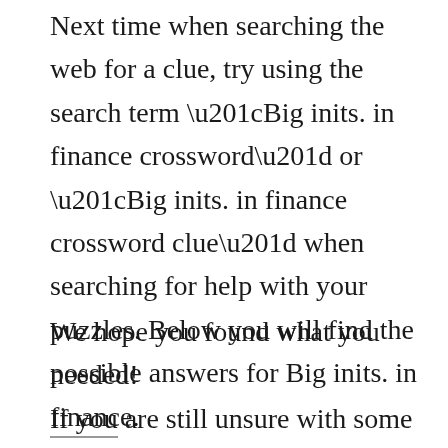Next time when searching the web for a clue, try using the search term “Big inits. in finance crossword” or “Big inits. in finance crossword clue” when searching for help with your puzzles. Below you will find the possible answers for Big inits. in finance.
We hope you found what you needed! If you are still unsure with some definitions, don’t hesitate to search them here with our crossword puzzle solver.